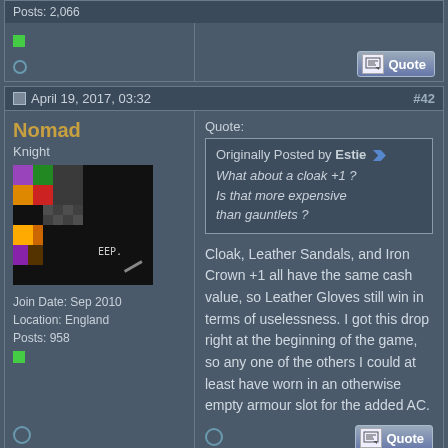Posts: 2,066
Quote (button)
April 19, 2017, 03:32 #42
Nomad
Knight
Join Date: Sep 2010
Location: England
Posts: 958
Quote:
Originally Posted by Estie
What about a cloak +1 ? Is that more expensive than gauntlets ?
Cloak, Leather Sandals, and Iron Crown +1 all have the same cash value, so Leather Gloves still win in terms of uselessness. I got this drop right at the beginning of the game, so any one of the others I could at least have worn in an otherwise empty armour slot for the added AC.
April 19, 2017, 16:07 #43
Estie
Quote: